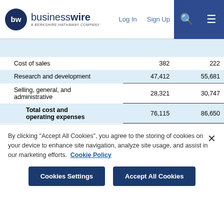businesswire — A BERKSHIRE HATHAWAY COMPANY | Log In | Sign Up
|  | Col1 | Col2 |
| --- | --- | --- |
| Cost of sales | 382 | 222 |
| Research and development | 47,412 | 55,681 |
| Selling, general, and administrative | 28,321 | 30,747 |
| Total cost and operating expenses | 76,115 | 86,650 |
| Loss from operations | (46,892) | (61,494) |
| Other income (expense): |  |  |
| Interest and other income, net | — | 196 |
By clicking "Accept All Cookies", you agree to the storing of cookies on your device to enhance site navigation, analyze site usage, and assist in our marketing efforts. Cookie Policy
Cookies Settings | Accept All Cookies